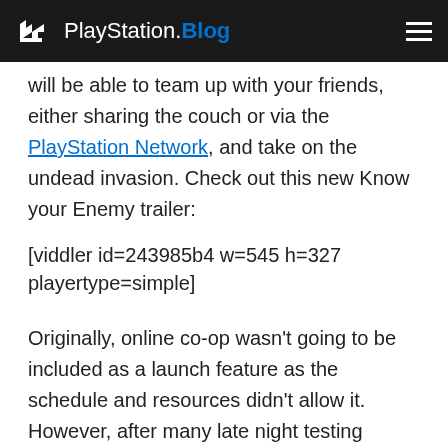PlayStation.Blog
will be able to team up with your friends, either sharing the couch or via the PlayStation Network, and take on the undead invasion. Check out this new Know your Enemy trailer:
[viddler id=243985b4 w=545 h=327 playertype=simple]
Originally, online co-op wasn't going to be included as a launch feature as the schedule and resources didn't allow it. However, after many late night testing sessions and long talks with Sony, we decided that this was a must-have feature and it would be unfair on you if we